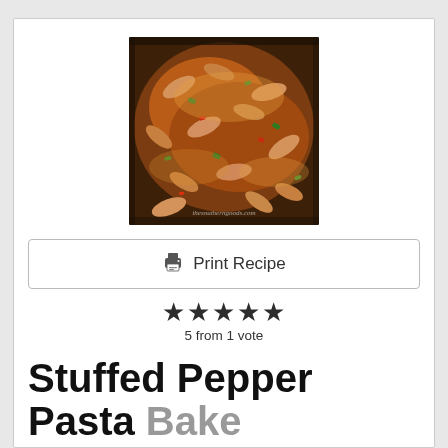[Figure (photo): Close-up photo of stuffed pepper pasta bake in a baking dish, showing rotini pasta with ground meat, peppers, and melted cheese. Watermark reads thesoutherngoods.com]
Print Recipe
★★★★★
5 from 1 vote
Stuffed Pepper Pasta Bake
This easy pasta bake makes a fantastic